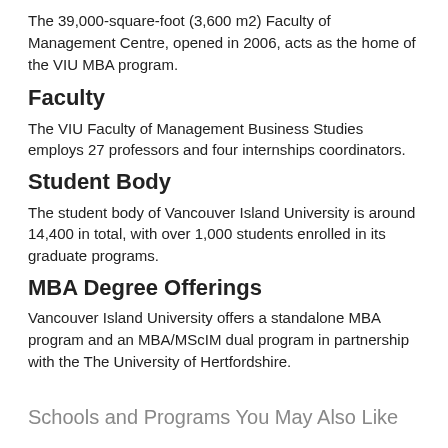The 39,000-square-foot (3,600 m2) Faculty of Management Centre, opened in 2006, acts as the home of the VIU MBA program.
Faculty
The VIU Faculty of Management Business Studies employs 27 professors and four internships coordinators.
Student Body
The student body of Vancouver Island University is around 14,400 in total, with over 1,000 students enrolled in its graduate programs.
MBA Degree Offerings
Vancouver Island University offers a standalone MBA program and an MBA/MScIM dual program in partnership with the The University of Hertfordshire.
Schools and Programs You May Also Like